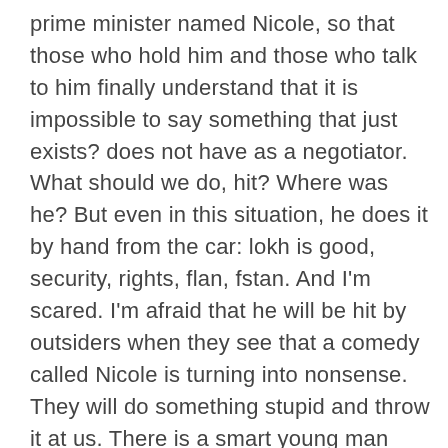prime minister named Nicole, so that those who hold him and those who talk to him finally understand that it is impossible to say something that just exists? does not have as a negotiator. What should we do, hit? Where was he? But even in this situation, he does it by hand from the car: lokh is good, security, rights, flan, fstan. And I'm scared. I'm afraid that he will be hit by outsiders when they see that a comedy called Nicole is turning into nonsense. They will do something stupid and throw it at us. There is a smart young man working in that penitentiary, he is a master of that business. He said that the clash at the intersection of Proshyan and Demirchyan streets was directed by the opposition leaders. Hey, you weren't there, I was. They were my family members, no